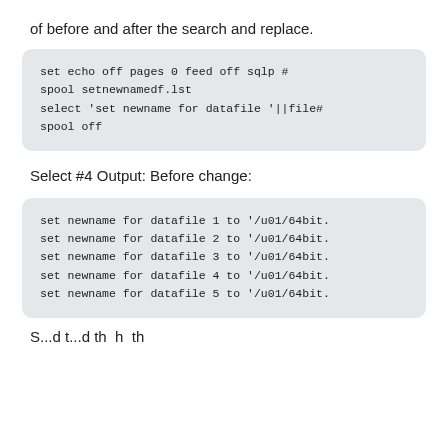of before and after the search and replace.
set echo off pages 0 feed off sqlp #
spool setnewnamedf.lst
select 'set newname for datafile '||file#
spool off
Select #4 Output: Before change:
set newname for datafile 1 to '/u01/64bit.
set newname for datafile 2 to '/u01/64bit.
set newname for datafile 3 to '/u01/64bit.
set newname for datafile 4 to '/u01/64bit.
set newname for datafile 5 to '/u01/64bit.
S...d t...d th h th